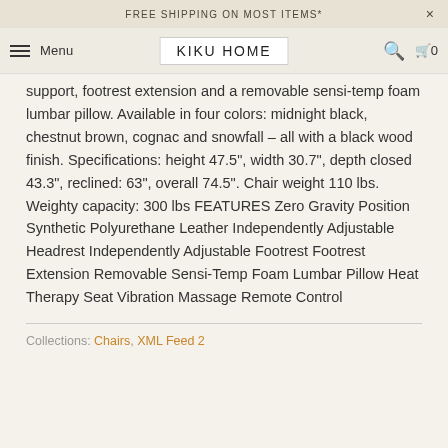FREE SHIPPING ON MOST ITEMS*
KIKU HOME
support, footrest extension and a removable sensi-temp foam lumbar pillow. Available in four colors: midnight black, chestnut brown, cognac and snowfall – all with a black wood finish. Specifications: height 47.5", width 30.7", depth closed 43.3", reclined: 63", overall 74.5". Chair weight 110 lbs. Weighty capacity: 300 lbs FEATURES Zero Gravity Position Synthetic Polyurethane Leather Independently Adjustable Headrest Independently Adjustable Footrest Footrest Extension Removable Sensi-Temp Foam Lumbar Pillow Heat Therapy Seat Vibration Massage Remote Control
Collections: Chairs, XML Feed 2